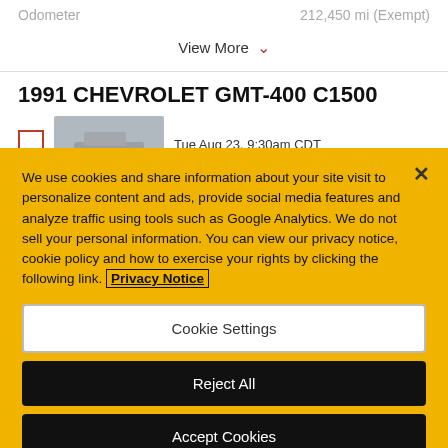Odometer   212,450 mi (Exempt)
View More
1991 CHEVROLET GMT-400 C1500
Tue Aug 23, 9:30am CDT
We use cookies and share information about your site visit to personalize content and ads, provide social media features and analyze traffic using tools such as Google Analytics. We do not sell your personal information. You can view our privacy notice, cookie policy and how to exercise your rights by clicking the following link. Privacy Notice
Cookie Settings
Reject All
Accept Cookies